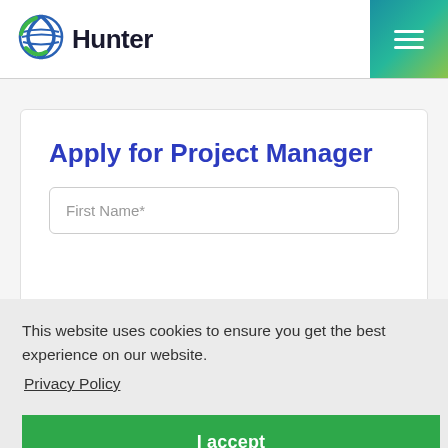[Figure (logo): Hunter company logo with globe icon and bold 'Hunter' text]
Apply for Project Manager
First Name*
This website uses cookies to ensure you get the best experience on our website.
Privacy Policy
I accept